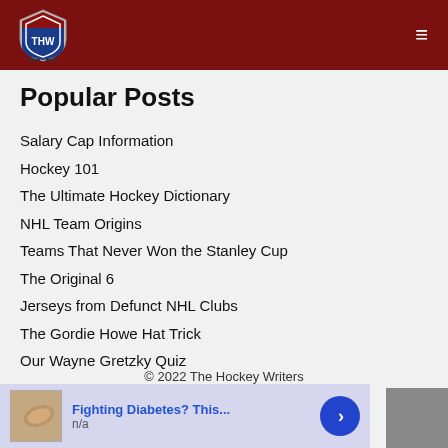THW — The Hockey Writers
Popular Posts
Salary Cap Information
Hockey 101
The Ultimate Hockey Dictionary
NHL Team Origins
Teams That Never Won the Stanley Cup
The Original 6
Jerseys from Defunct NHL Clubs
The Gordie Howe Hat Trick
Our Wayne Gretzky Quiz
© 2022 The Hockey Writers
[Figure (photo): Advertisement banner with cashew image: 'Fighting Diabetes? This... n/a']